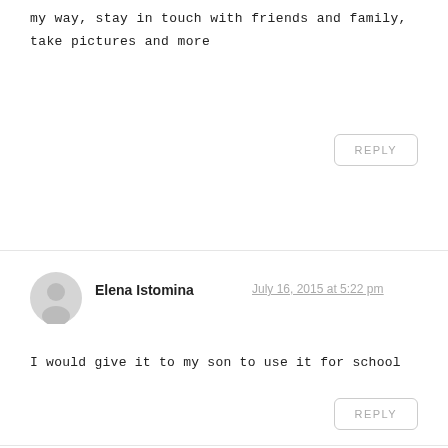my way, stay in touch with friends and family, take pictures and more
REPLY
Elena Istomina
July 16, 2015 at 5:22 pm
I would give it to my son to use it for school
REPLY
Kelster
July 16, 2015 at 1:22 pm